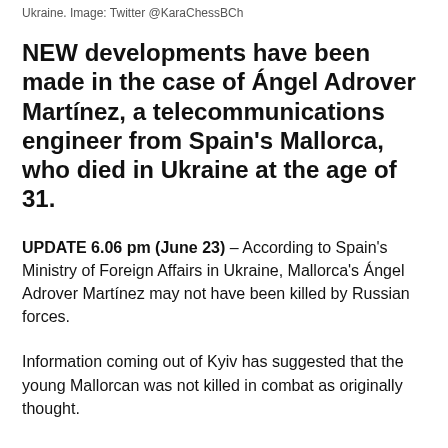Ukraine. Image: Twitter @KaraChessBCh
NEW developments have been made in the case of Ángel Adrover Martínez, a telecommunications engineer from Spain's Mallorca, who died in Ukraine at the age of 31.
UPDATE 6.06 pm (June 23) – According to Spain's Ministry of Foreign Affairs in Ukraine, Mallorca's Ángel Adrover Martínez may not have been killed by Russian forces.
Information coming out of Kyiv has suggested that the young Mallorcan was not killed in combat as originally thought.